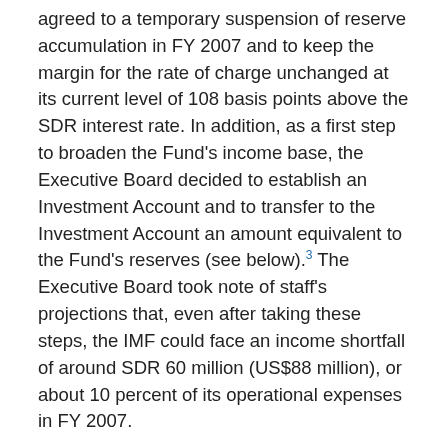agreed to a temporary suspension of reserve accumulation in FY 2007 and to keep the margin for the rate of charge unchanged at its current level of 108 basis points above the SDR interest rate. In addition, as a first step to broaden the Fund's income base, the Executive Board decided to establish an Investment Account and to transfer to the Investment Account an amount equivalent to the Fund's reserves (see below).3 The Executive Board took note of staff's projections that, even after taking these steps, the IMF could face an income shortfall of around SDR 60 million (US$88 million), or about 10 percent of its operational expenses in FY 2007.
The Executive Board also adopted a number of other decisions that have a bearing on the IMF's finances in FY 2007, including burden sharing for deferred charges and the SCA-1, which is a special account established specifically to protect the IMF against the risk of loss of principal resulting from arrears, and the continuation of the system of special charges for overdue obligations.